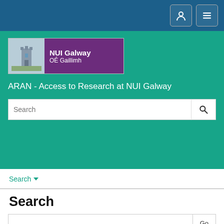NUI Galway navigation bar with user and menu icons
[Figure (logo): NUI Galway / OÉ Gaillimh university logo with tower image and purple text box]
ARAN - Access to Research at NUI Galway
Search (search bar in header)
Search ▼
Search
Go (search input with Go button)
Subject: active galaxy markarian-421 ×
Author: Errando, M. ×